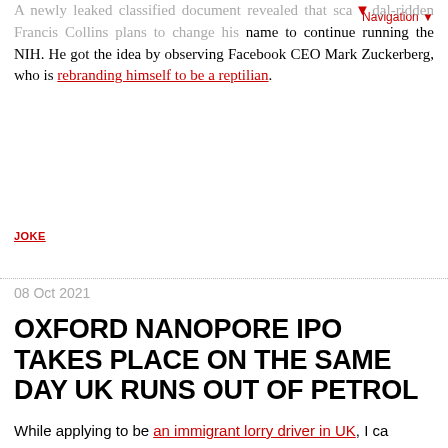A newly leaked classified document revealed that scandal-ridden Francis Collins plans to change his name to continue running the NIH. He got the idea by observing Facebook CEO Mark Zuckerberg, who is rebranding himself to be a reptilian.
JOKE
08 Oct 2021
OXFORD NANOPORE IPO TAKES PLACE ON THE SAME DAY UK RUNS OUT OF PETROL
While applying to be an immigrant lorry driver in UK, I came across an app that you could bl...